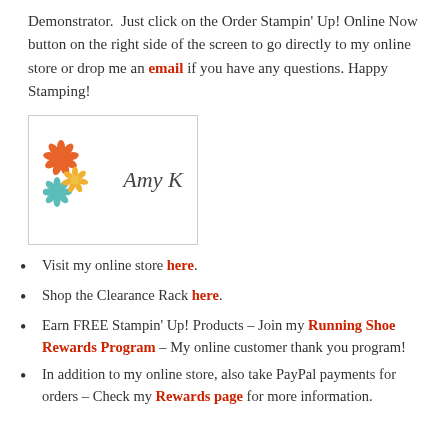Demonstrator. Just click on the Order Stampin' Up! Online Now button on the right side of the screen to go directly to my online store or drop me an email if you have any questions. Happy Stamping!
[Figure (illustration): Signature block with decorative flowers (orange, teal, yellow) and handwritten name 'Amy K' inside a light grey border box]
Visit my online store here.
Shop the Clearance Rack here.
Earn FREE Stampin' Up! Products – Join my Running Shoe Rewards Program – My online customer thank you program!
In addition to my online store, also take PayPal payments for orders – Check my Rewards page for more information.